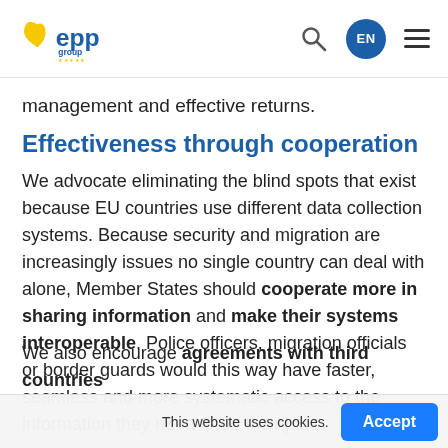EPP Group in the European Parliament — EN
management and effective returns.
Effectiveness through cooperation
We advocate eliminating the blind spots that exist because EU countries use different data collection systems. Because security and migration are increasingly issues no single country can deal with alone, Member States should cooperate more in sharing information and make their systems interoperable. Police officers, migration officials or border guards would this way have faster, seamless and more systematic access to the information they need to do their jobs.

We also encourage agreements with third countries
This website uses cookies.